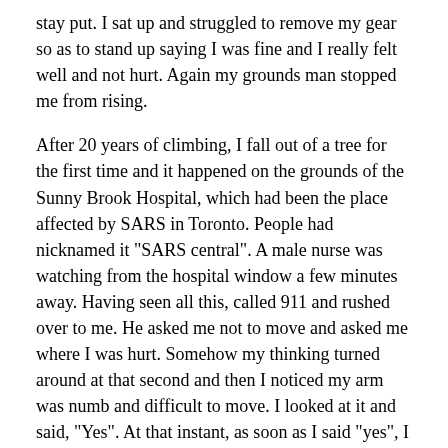stay put. I sat up and struggled to remove my gear so as to stand up saying I was fine and I really felt well and not hurt. Again my grounds man stopped me from rising.
After 20 years of climbing, I fall out of a tree for the first time and it happened on the grounds of the Sunny Brook Hospital, which had been the place affected by SARS in Toronto. People had nicknamed it "SARS central". A male nurse was watching from the hospital window a few minutes away. Having seen all this, called 911 and rushed over to me. He asked me not to move and asked me where I was hurt. Somehow my thinking turned around at that second and then I noticed my arm was numb and difficult to move. I looked at it and said, "Yes". At that instant, as soon as I said "yes", I was hurt.
The Worst Turned Into The Best
Many severe injuries manifested. My diaphragm and spleen had ruptured; my internal organs had shifted and filled my